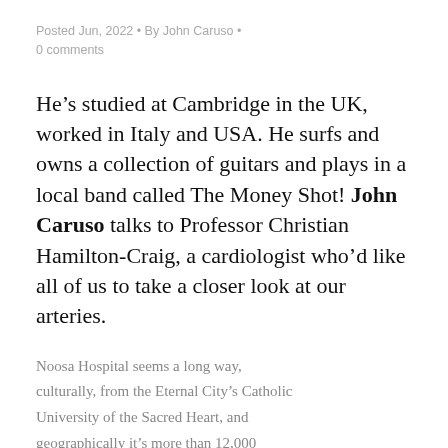Posted Jun, 2022 • By John Caruso • 0 comments
He’s studied at Cambridge in the UK, worked in Italy and USA. He surfs and owns a collection of guitars and plays in a local band called The Money Shot! John Caruso talks to Professor Christian Hamilton-Craig, a cardiologist who’d like all of us to take a closer look at our arteries.
Noosa Hospital seems a long way, culturally, from the Eternal City’s Catholic University of the Sacred Heart, and geographically it’s more than 12,000